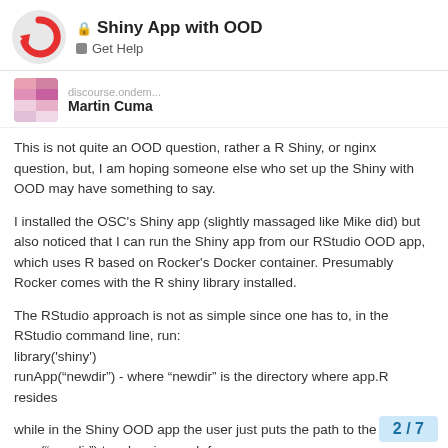Shiny App with OOD — Get Help
Martin Cuma
This is not quite an OOD question, rather a R Shiny, or nginx question, but, I am hoping someone else who set up the Shiny with OOD may have something to say.
I installed the OSC's Shiny app (slightly massaged like Mike did) but also noticed that I can run the Shiny app from our RStudio OOD app, which uses R based on Rocker's Docker container. Presumably Rocker comes with the R shiny library installed.
The RStudio approach is not as simple since one has to, in the RStudio command line, run:
library('shiny')
runApp("newdir") - where "newdir" is the directory where app.R resides
while in the Shiny OOD app the user just puts the path to the Shiny app ("newdir") to a box in a web form if there's any other advantage of running th